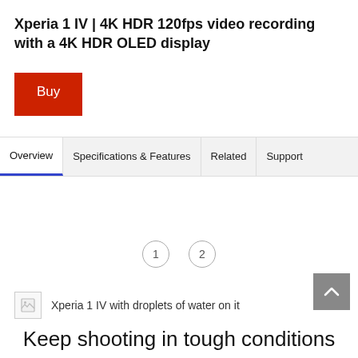Xperia 1 IV | 4K HDR 120fps video recording with a 4K HDR OLED display
[Figure (other): Red 'Buy' button]
[Figure (other): Navigation tab bar with tabs: Overview (active), Specifications & Features, Related, Support]
[Figure (other): Carousel pagination indicators showing circles numbered 1 and 2]
[Figure (photo): Broken image placeholder with alt text: Xperia 1 IV with droplets of water on it]
[Figure (other): Scroll-to-top button (chevron up arrow on grey background)]
Keep shooting in tough conditions